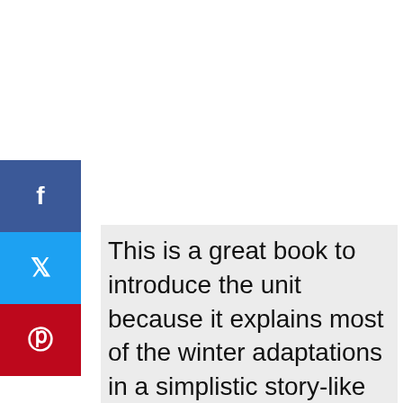[Figure (other): Social media sharing sidebar buttons: Facebook (blue), Twitter (light blue), Pinterest (red)]
This is a great book to introduce the unit because it explains most of the winter adaptations in a simplistic story-like manner, perfect for kindergarten and first grade. Students will enjoy hearing about the ways they can help animals